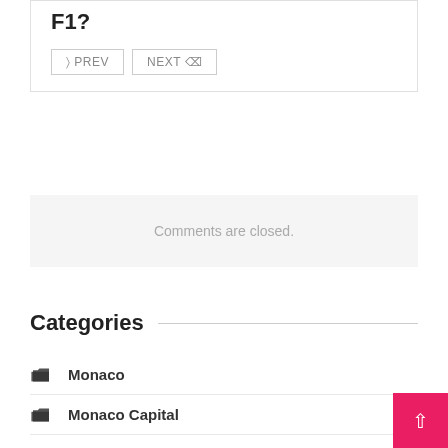F1?
◄ PREV   NEXT ►
Comments are closed.
Categories
Monaco
Monaco Capital
Monaco Gran Prix
Monaco Property
Monaco Royal Family